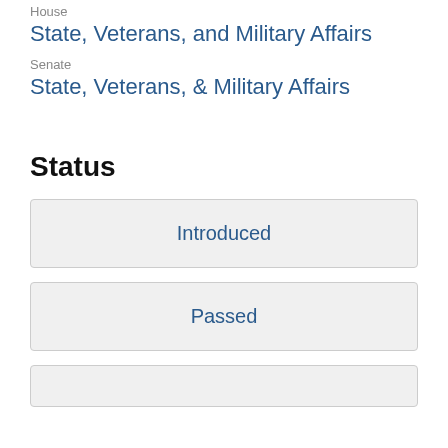House
State, Veterans, and Military Affairs
Senate
State, Veterans, & Military Affairs
Status
Introduced
Passed